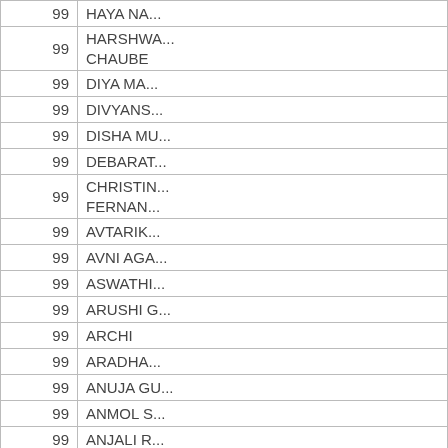| Score | Name |
| --- | --- |
| 99 | HAYA NA... |
| 99 | HARSHWA... CHAUBE |
| 99 | DIYA MA... |
| 99 | DIVYANS... |
| 99 | DISHA MU... |
| 99 | DEBARAT... |
| 99 | CHRISTIN... FERNAN... |
| 99 | AVTARIK... |
| 99 | AVNI AGA... |
| 99 | ASWATHI... |
| 99 | ARUSHI G... |
| 99 | ARCHI |
| 99 | ARADHA... |
| 99 | ANUJA GU... |
| 99 | ANMOL S... |
| 99 | ANJALI R... |
| 99 | ANANYA |
| 99 | ANAMYA |
| 99 | AMISHA ... |
| 99 | ACHUTHI... |